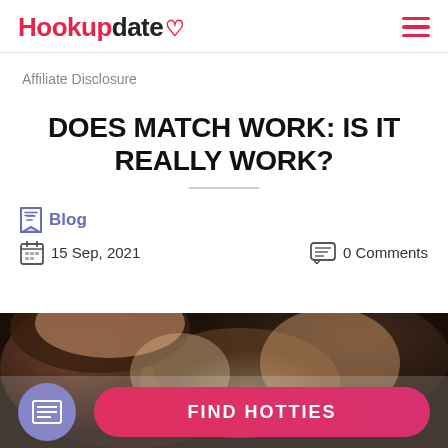Hookupdate [logo with heart]
Affiliate Disclosure
DOES MATCH WORK: IS IT REALLY WORK?
Blog
15 Sep, 2021   0 Comments
[Figure (photo): A couple leaning close together, partial face view, dark blurred background. Overlay with a 'FIND HOTTIES' button and a table-of-contents icon button.]